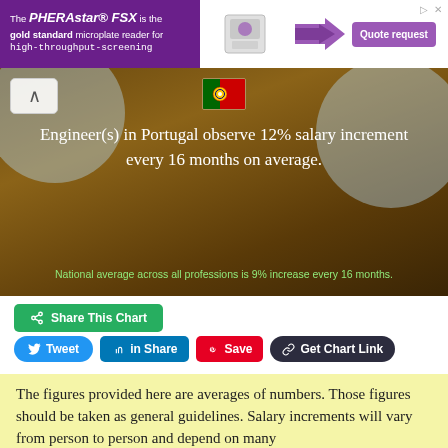[Figure (infographic): Advertisement banner for PHERAstar FSX microplate reader with purple background, machine image, arrow graphics, and Quote request button]
[Figure (infographic): Hero image with brownish construction background, circular overlays, Portuguese flag, up arrow button, and text: Engineer(s) in Portugal observe 12% salary increment every 16 months on average. Subtext: National average across all professions is 9% increase every 16 months.]
Share This Chart
Tweet
Share
Save
Get Chart Link
The figures provided here are averages of numbers. Those figures should be taken as general guidelines. Salary increments will vary from person to person and depend on many